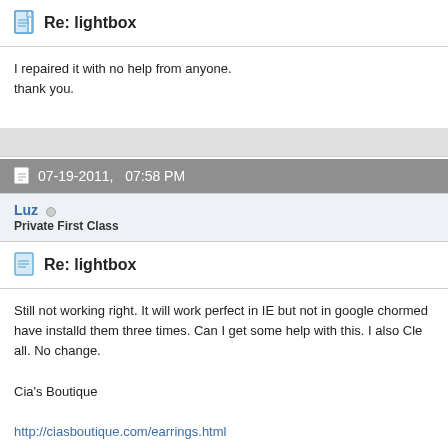Re: lightbox
I repaired it with no help from anyone.
thank you.
07-19-2011,   07:58 PM
Luz
Private First Class
Re: lightbox
Still not working right. It will work perfect in IE but not in google chrome. have installd them three times. Can I get some help with this. I also Cle all. No change.

Cia's Boutique

http://ciasboutique.com/earrings.html

The items at the bottom of page.
This issue need to be addressed